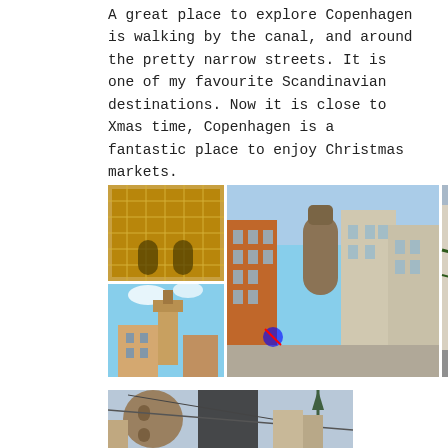A great place to explore Copenhagen is walking by the canal, and around the pretty narrow streets. It is one of my favourite Scandinavian destinations. Now it is close to Xmas time, Copenhagen is a fantastic place to enjoy Christmas markets.
[Figure (photo): A collage of six Copenhagen photos: interior with decorative ceiling (top-left), city tower building (bottom-left), wide street with tall colorful buildings and a round tower in the background (center), Christmas-decorated pedestrian shopping street with red lanterns (right), and a partial wide photo of the Round Tower and a church spire at the bottom.]